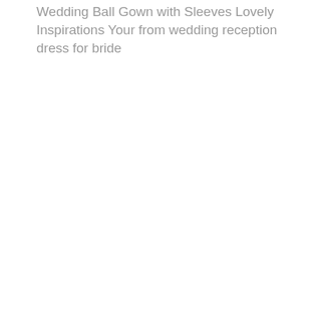Wedding Ball Gown with Sleeves Lovely Inspirations Your from wedding reception dress for bride